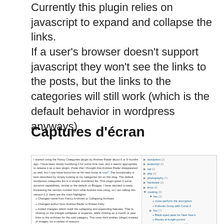Currently this plugin relies on javascript to expand and collapse the links. If a user's browser doesn't support javascript they won't see the links to the posts, but the links to the categories will still work (which is the default behavior in wordpress anyways)
Captures d'écran
[Figure (screenshot): Screenshot of a WordPress blog page showing a blog post about the Collapsing Archives plugin alongside a sidebar with category links including wordpress, javascript, sql, php, photography, hardware, linux, cooking (with subcategories), and linguistics.]